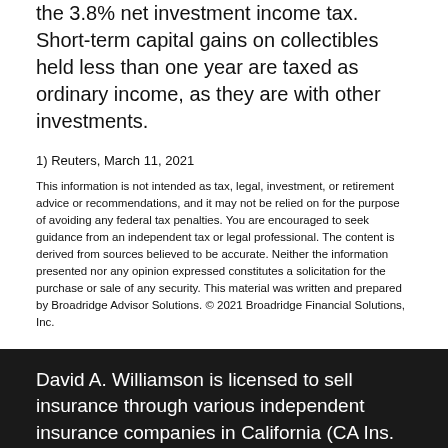the 3.8% net investment income tax. Short-term capital gains on collectibles held less than one year are taxed as ordinary income, as they are with other investments.
1) Reuters, March 11, 2021
This information is not intended as tax, legal, investment, or retirement advice or recommendations, and it may not be relied on for the purpose of avoiding any federal tax penalties. You are encouraged to seek guidance from an independent tax or legal professional. The content is derived from sources believed to be accurate. Neither the information presented nor any opinion expressed constitutes a solicitation for the purchase or sale of any security. This material was written and prepared by Broadridge Advisor Solutions. © 2021 Broadridge Financial Solutions, Inc.
David A. Williamson is licensed to sell insurance through various independent insurance companies in California (CA Ins. Lic. 0G56679) and WA & GA.
Equity Advisors is a registered investment adviser. Information presented is for educational purposes only and does not intend to make an offer or solicitation for the sale or purchase of any specific securities, investments, or investment strategies. Investments involve risk and, unless otherwise stated